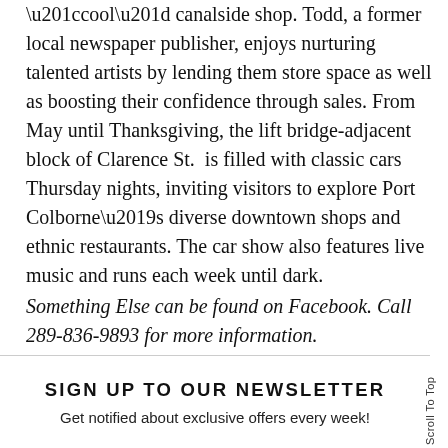“cool” canalside shop. Todd, a former local newspaper publisher, enjoys nurturing talented artists by lending them store space as well as boosting their confidence through sales. From May until Thanksgiving, the lift bridge-adjacent block of Clarence St.  is filled with classic cars Thursday nights, inviting visitors to explore Port Colborne’s diverse downtown shops and ethnic restaurants. The car show also features live music and runs each week until dark. Something Else can be found on Facebook. Call 289-836-9893 for more information.
SIGN UP TO OUR NEWSLETTER
Get notified about exclusive offers every week!
Scroll To Top